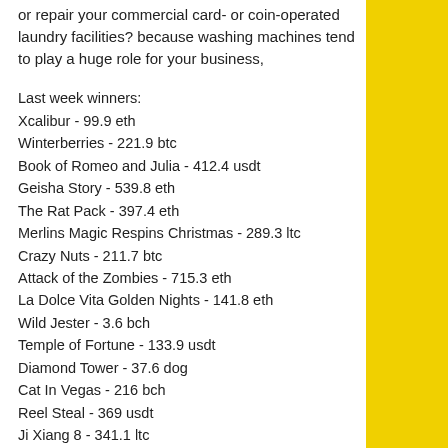or repair your commercial card- or coin-operated laundry facilities? because washing machines tend to play a huge role for your business,
Last week winners:
Xcalibur - 99.9 eth
Winterberries - 221.9 btc
Book of Romeo and Julia - 412.4 usdt
Geisha Story - 539.8 eth
The Rat Pack - 397.4 eth
Merlins Magic Respins Christmas - 289.3 ltc
Crazy Nuts - 211.7 btc
Attack of the Zombies - 715.3 eth
La Dolce Vita Golden Nights - 141.8 eth
Wild Jester - 3.6 bch
Temple of Fortune - 133.9 usdt
Diamond Tower - 37.6 dog
Cat In Vegas - 216 bch
Reel Steal - 369 usdt
Ji Xiang 8 - 341.1 ltc